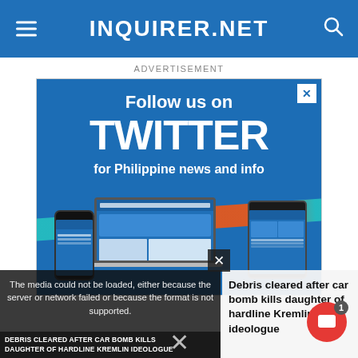INQUIRER.NET
ADVERTISEMENT
[Figure (screenshot): Twitter social media follow advertisement banner with text 'Follow us on TWITTER for Philippine news and info' showing devices (phone, laptop, tablet) with Twitter/Inquirer pages displayed, on a blue background with colorful rainbow stripe]
[Figure (screenshot): News video player showing error message 'The media could not be loaded, either because the server or network failed or because the format is not supported.' with headline 'DEBRIS CLEARED AFTER CAR BOMB KILLS DAUGHTER OF HARDLINE KREMLIN IDEOLOGUE']
Debris cleared after car bomb kills daughter of hardline Kremlin ideologue